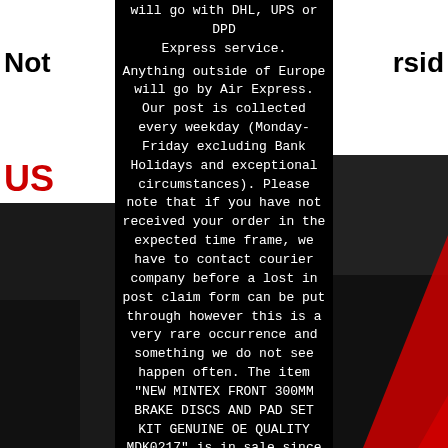will go with DHL, UPS or DPD Express service. Anything outside of Europe will go by Air Express. Our post is collected every weekday (Monday-Friday excluding Bank Holidays and exceptional circumstances). Please note that if you have not received your order in the expected time frame, we have to contact courier company before a lost in post claim form can be put through however this is a very rare occurrence and something we do not see happen often. The item "NEW MINTEX FRONT 300MM BRAKE DISCS AND PAD SET KIT GENUINE OE QUALITY MDK0217" is in sale since Tuesday, July 18, 2017. This item is in the category "Vehicle Parts & Accessories\Car Parts\Brakes & Brake Parts\Brake Component Packages".